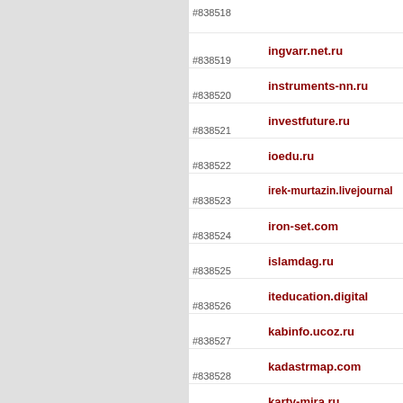#838518
#838519 ingvarr.net.ru
#838520 instruments-nn.ru
#838521 investfuture.ru
#838522 ioedu.ru
#838523 irek-murtazin.livejournal
#838524 iron-set.com
#838525 islamdag.ru
#838526 iteducation.digital
#838527 kabinfo.ucoz.ru
#838528 kadastrmap.com
#838529 karty-mira.ru
#838530 katrenstyle.ru